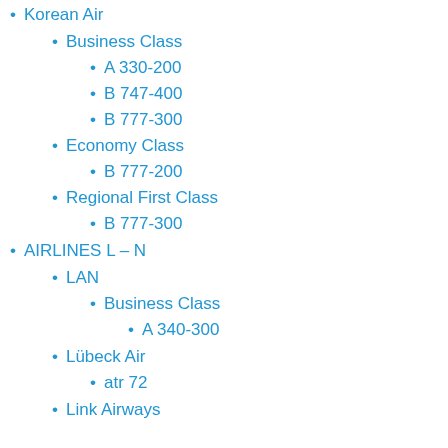Korean Air
Business Class
A 330-200
B 747-400
B 777-300
Economy Class
B 777-200
Regional First Class
B 777-300
AIRLINES L – N
LAN
Business Class
A 340-300
Lübeck Air
atr 72
Link Airways